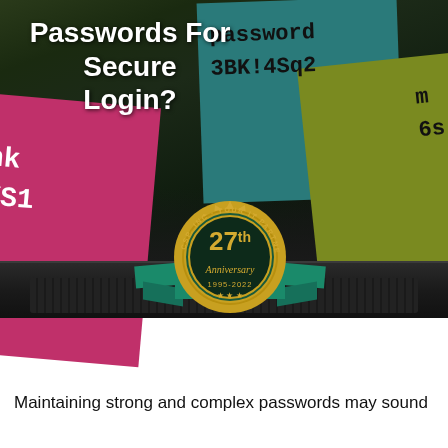[Figure (photo): Background image of a laptop with sticky notes containing handwritten passwords and text. Sticky notes show 'password', '3BK!4Sq2', partial text 'nk', 'YS1', and partial text on right side. A gold anniversary seal badge with teal ribbon for CSP Inc. 27th Anniversary 1995-2022 is overlaid in the center.]
Passwords For Secure Login?
Maintaining strong and complex passwords may sound